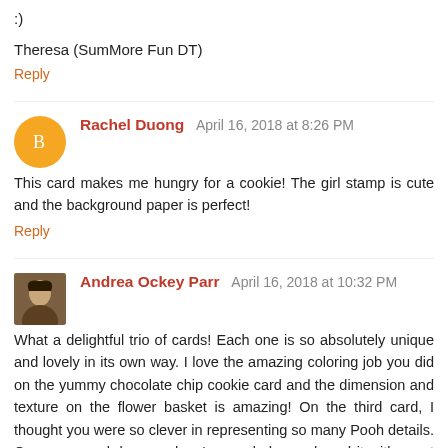:)
Theresa (SumMore Fun DT)
Reply
Rachel Duong  April 16, 2018 at 8:26 PM
This card makes me hungry for a cookie! The girl stamp is cute and the background paper is perfect!
Reply
Andrea Ockey Parr  April 16, 2018 at 10:32 PM
What a delightful trio of cards! Each one is so absolutely unique and lovely in its own way. I love the amazing coloring job you did on the yummy chocolate chip cookie card and the dimension and texture on the flower basket is amazing! On the third card, I thought you were so clever in representing so many Pooh details. Gorgeous work here and we're so glad you shared it with us at the Simon Says Stamp Monday Challenge Blog!
Reply